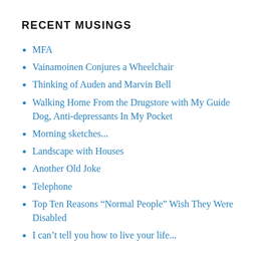RECENT MUSINGS
MFA
Vainamoinen Conjures a Wheelchair
Thinking of Auden and Marvin Bell
Walking Home From the Drugstore with My Guide Dog, Anti-depressants In My Pocket
Morning sketches...
Landscape with Houses
Another Old Joke
Telephone
Top Ten Reasons “Normal People” Wish They Were Disabled
I can’t tell you how to live your life...